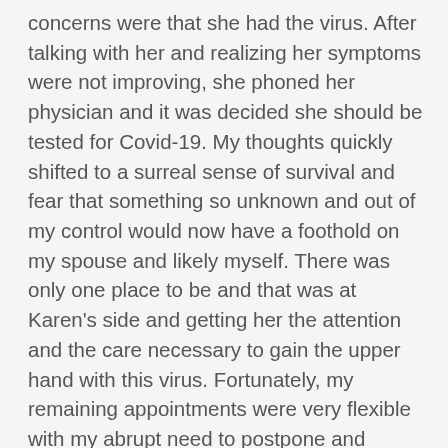concerns were that she had the virus. After talking with her and realizing her symptoms were not improving, she phoned her physician and it was decided she should be tested for Covid-19. My thoughts quickly shifted to a surreal sense of survival and fear that something so unknown and out of my control would now have a foothold on my spouse and likely myself. There was only one place to be and that was at Karen's side and getting her the attention and the care necessary to gain the upper hand with this virus. Fortunately, my remaining appointments were very flexible with my abrupt need to postpone and relocate those appointments later in the week.